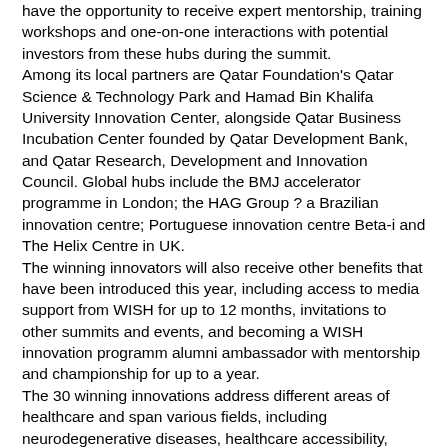have the opportunity to receive expert mentorship, training workshops and one-on-one interactions with potential investors from these hubs during the summit. Among its local partners are Qatar Foundation's Qatar Science & Technology Park and Hamad Bin Khalifa University Innovation Center, alongside Qatar Business Incubation Center founded by Qatar Development Bank, and Qatar Research, Development and Innovation Council. Global hubs include the BMJ accelerator programme in London; the HAG Group ? a Brazilian innovation centre; Portuguese innovation centre Beta-i and The Helix Centre in UK. The winning innovators will also receive other benefits that have been introduced this year, including access to media support from WISH for up to 12 months, invitations to other summits and events, and becoming a WISH innovation programm alumni ambassador with mentorship and championship for up to a year. The 30 winning innovations address different areas of healthcare and span various fields, including neurodegenerative diseases, healthcare accessibility, environmental sustainability, COVID-19, physical therapy and others, all aimed at creating cost-effective and accessible healthcare for global populations.